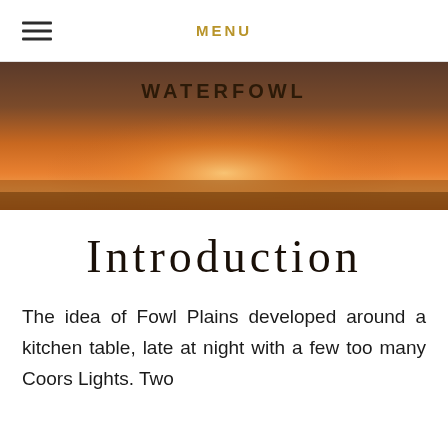MENU
[Figure (photo): Sunset landscape photo with warm orange and brown gradient sky used as hero banner with WATERFOWL text overlay]
Introduction
The idea of Fowl Plains developed around a kitchen table, late at night with a few too many Coors Lights. Two